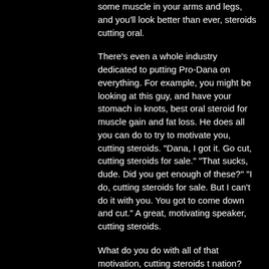some muscle in your arms and legs, and you'll look better than ever, steroids cutting oral.
There's even a whole industry dedicated to putting Pro-Dana on everything. For example, you might be looking at this guy, and have your stomach in knots, best oral steroid for muscle gain and fat loss. He does all you can do to try to motivate you, cutting steroids. "Dana, I got it. Go cut, cutting steroids for sale." "That sucks, dude. Did you get enough of these?" "I do, cutting steroids for sale. But I can't do it with you. You got to come down and cut." A great, motivating speaker, cutting steroids.
What do you do with all of that motivation, cutting steroids t nation?
If you aren't ready to do it, then don't worry